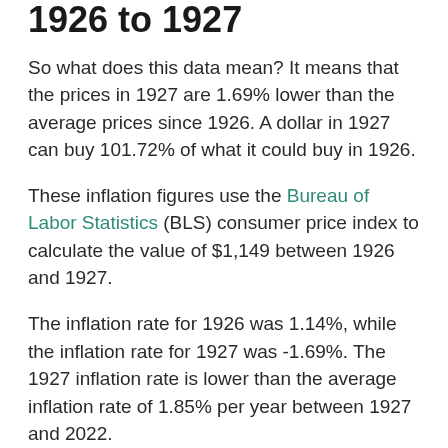1926 to 1927
So what does this data mean? It means that the prices in 1927 are 1.69% lower than the average prices since 1926. A dollar in 1927 can buy 101.72% of what it could buy in 1926.
These inflation figures use the Bureau of Labor Statistics (BLS) consumer price index to calculate the value of $1,149 between 1926 and 1927.
The inflation rate for 1926 was 1.14%, while the inflation rate for 1927 was -1.69%. The 1927 inflation rate is lower than the average inflation rate of 1.85% per year between 1927 and 2022.
USD Inflation Since 1913
The chart below shows the inflation rate from